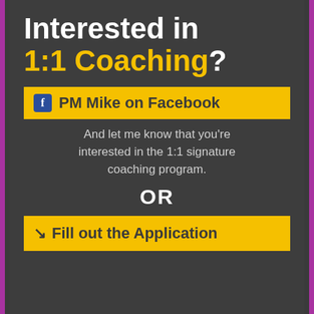Interested in 1:1 Coaching?
PM Mike on Facebook
And let me know that you're interested in the 1:1 signature coaching program.
OR
Fill out the Application